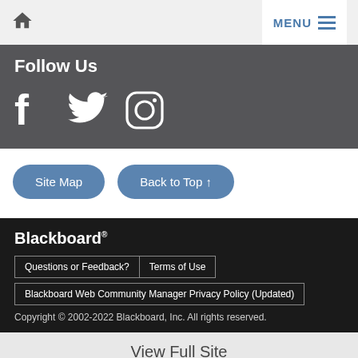Home | MENU
Follow Us
[Figure (illustration): Social media icons: Facebook, Twitter, Instagram in white on dark background]
Site Map | Back to Top ↑
Blackboard®
Questions or Feedback? | Terms of Use
Blackboard Web Community Manager Privacy Policy (Updated)
Copyright © 2002-2022 Blackboard, Inc. All rights reserved.
View Full Site